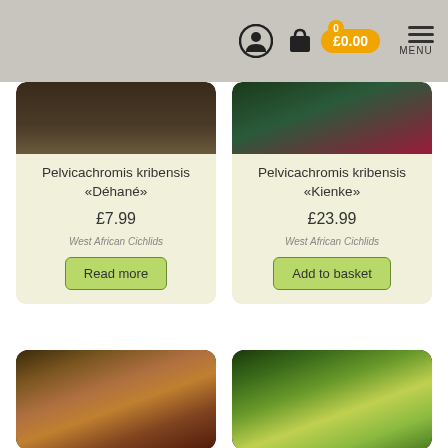£0.00 MENU
Pelvicachromis kribensis «Déhané»
£7.99
West African Cichlids
Pelvicachromis kribensis «Kienke»
£23.99
West African Cichlids
[Figure (photo): Fish product card image - Pelvicachromis kribensis Déhané]
[Figure (photo): Fish product card image - Pelvicachromis kribensis Kienke]
[Figure (photo): Photo of Pelvicachromis kribensis fish with colorful scales, pink/red belly]
[Figure (photo): Photo of Pelvicachromis kribensis fish with spotted yellow markings]